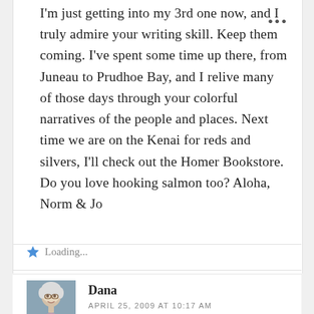I'm just getting into my 3rd one now, and I truly admire your writing skill. Keep them coming. I've spent some time up there, from Juneau to Prudhoe Bay, and I relive many of those days through your colorful narratives of the people and places. Next time we are on the Kenai for reds and silvers, I'll check out the Homer Bookstore. Do you love hooking salmon too? Aloha, Norm & Jo
Loading...
Dana
APRIL 25, 2009 AT 10:17 AM